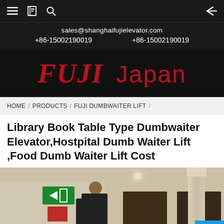Navigation bar with menu, bookmark, search and back icons
sales@shanghaifujielevator.com
+86-15002190019   +86-15002190019
FUJI Japan
HOME / PRODUCTS / FUJI DUMBWAITER LIFT /
Library Book Table Type Dumbwaiter Elevator,Hostpital Dumb Waiter Lift ,Food Dumb Waiter Lift Cost
[Figure (photo): Hotel lobby interior with a person standing near elevator/dumbwaiter doors. Emergency exit sign visible on left wall. Decorative column on right side. Email contact button overlay in bottom right corner.]